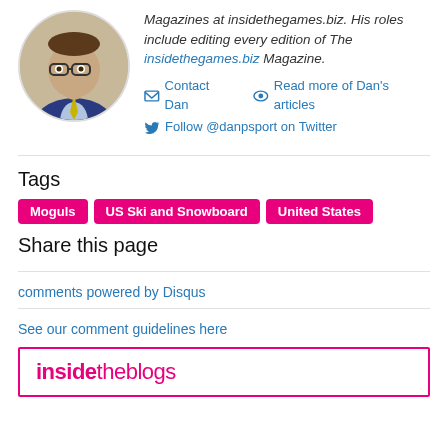[Figure (photo): Circular profile photo of a man wearing glasses, a blue suit, and a yellow tie, against a beige background]
Magazines at insidethegames.biz. His roles include editing every edition of The insidethegames.biz Magazine.
Contact Dan   Read more of Dan's articles   Follow @danpsport on Twitter
Tags
Moguls
US Ski and Snowboard
United States
Share this page
comments powered by Disqus
See our comment guidelines here
insidetheblogs